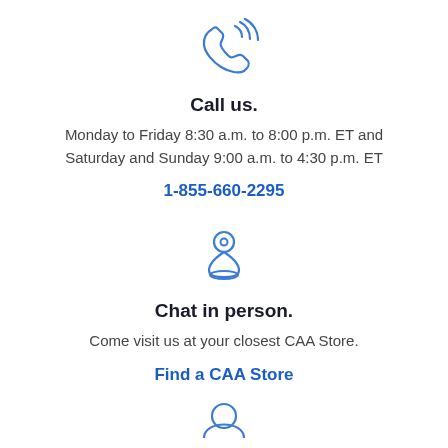[Figure (illustration): Blue outline phone/call icon with signal waves]
Call us.
Monday to Friday 8:30 a.m. to 8:00 p.m. ET and Saturday and Sunday 9:00 a.m. to 4:30 p.m. ET
1-855-660-2295
[Figure (illustration): Blue outline map pin / location marker icon]
Chat in person.
Come visit us at your closest CAA Store.
Find a CAA Store
[Figure (illustration): Blue outline person/chat icon (partially visible at bottom)]